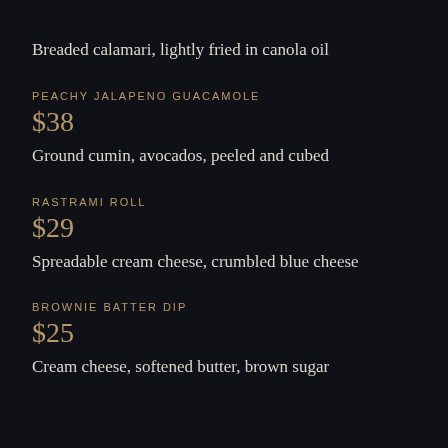Breaded calamari, lightly fried in canola oil
PEACHY JALAPENO GUACAMOLE
$38
Ground cumin, avocados, peeled and cubed
RASTRAMI ROLL
$29
Spreadable cream cheese, crumbled blue cheese
BROWNIE BATTER DIP
$25
Cream cheese, softened butter, brown sugar